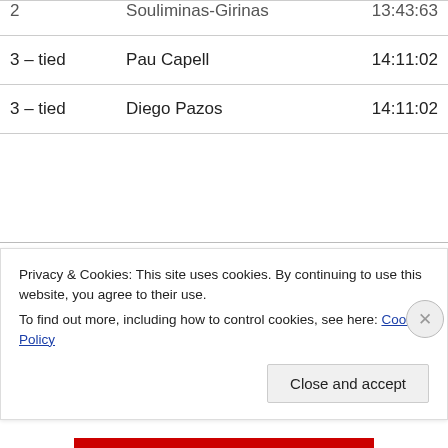| Rank | Name | Time |
| --- | --- | --- |
| 3 – tied | Pau Capell | 14:11:02 |
| 3 – tied | Diego Pazos | 14:11:02 |
| Women |  | Time |
| 1 | Caroline Chaverot | 15:23:40 |
Privacy & Cookies: This site uses cookies. By continuing to use this website, you agree to their use.
To find out more, including how to control cookies, see here: Cookie Policy
Close and accept